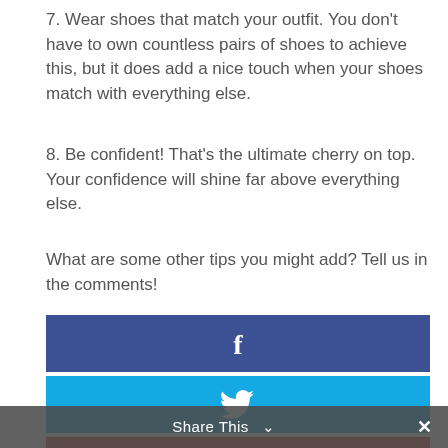7. Wear shoes that match your outfit. You don't have to own countless pairs of shoes to achieve this, but it does add a nice touch when your shoes match with everything else.
8. Be confident! That's the ultimate cherry on top. Your confidence will shine far above everything else.
What are some other tips you might add? Tell us in the comments!
[Figure (other): Facebook share button (dark blue with white 'f' icon)]
[Figure (other): Twitter share button (light blue with white bird icon)]
[Figure (other): Google+ share button (red with white G+ icon)]
Share This ∨  ×